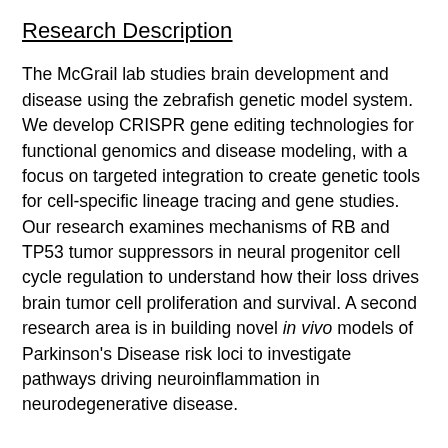Research Description
The McGrail lab studies brain development and disease using the zebrafish genetic model system. We develop CRISPR gene editing technologies for functional genomics and disease modeling, with a focus on targeted integration to create genetic tools for cell-specific lineage tracing and gene studies. Our research examines mechanisms of RB and TP53 tumor suppressors in neural progenitor cell cycle regulation to understand how their loss drives brain tumor cell proliferation and survival. A second research area is in building novel in vivo models of Parkinson’s Disease risk loci to investigate pathways driving neuroinflammation in neurodegenerative disease.
Complete Publication List